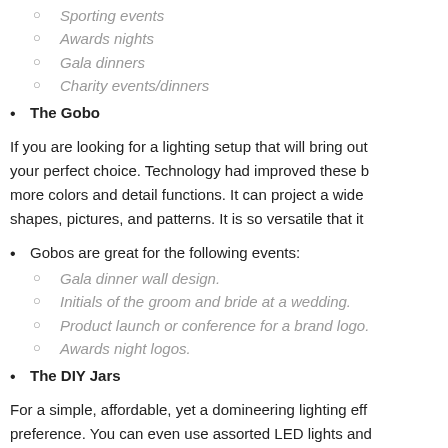Sporting events
Awards nights
Gala dinners
Charity events/dinners
The Gobo
If you are looking for a lighting setup that will bring out your perfect choice. Technology had improved these b more colors and detail functions. It can project a wide shapes, pictures, and patterns. It is so versatile that it
Gobos are great for the following events:
Gala dinner wall design.
Initials of the groom and bride at a wedding.
Product launch or conference for a brand logo.
Awards night logos.
The DIY Jars
For a simple, affordable, yet a domineering lighting eff preference. You can even use assorted LED lights and